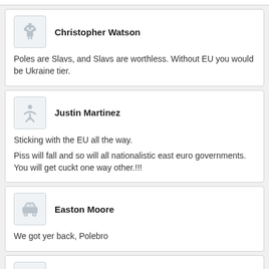Christopher Watson
Poles are Slavs, and Slavs are worthless. Without EU you would be Ukraine tier.
Justin Martinez
Sticking with the EU all the way.

Piss will fall and so will all nationalistic east euro governments.
You will get cuckt one way other.!!!
Easton Moore
We got yer back, Polebro
Justin Jones